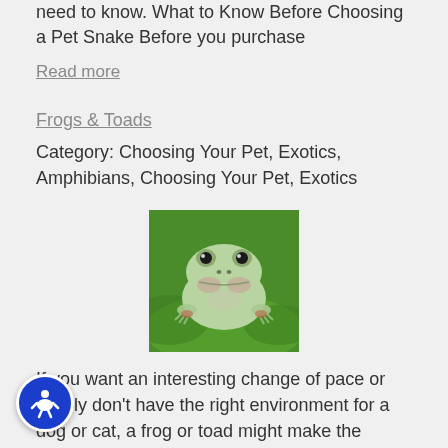need to know. What to Know Before Choosing a Pet Snake Before you purchase
Read more
Frogs & Toads
Category: Choosing Your Pet, Exotics, Amphibians, Choosing Your Pet, Exotics
[Figure (photo): Close-up photo of a green tree frog sitting on a green leaf, looking directly at the camera]
If you want an interesting change of pace or simply don't have the right environment for a dog or cat, a frog or toad might make the perfect companion for you. The information you need to know is...